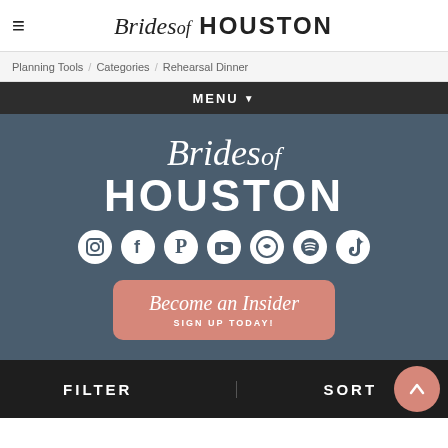Brides of Houston
Planning Tools / Categories / Rehearsal Dinner
MENU ▾
[Figure (logo): Brides of Houston logo in white script and bold sans-serif on dark blue-grey background with social media icons (Instagram, Facebook, Pinterest, YouTube, heart/circle, Spotify, TikTok)]
Become an Insider
SIGN UP TODAY!
FILTER   SORT